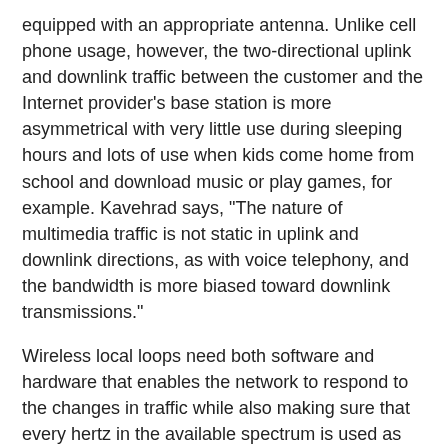equipped with an appropriate antenna. Unlike cell phone usage, however, the two-directional uplink and downlink traffic between the customer and the Internet provider's base station is more asymmetrical with very little use during sleeping hours and lots of use when kids come home from school and download music or play games, for example. Kavehrad says, "The nature of multimedia traffic is not static in uplink and downlink directions, as with voice telephony, and the bandwidth is more biased toward downlink transmissions."
Wireless local loops need both software and hardware that enables the network to respond to the changes in traffic while also making sure that every hertz in the available spectrum is used as efficiently as possible. In addition, the system must contend with the fact that some incoming interfering signals are stronger than others.
The solution developed by the Penn State engineers is software that allows the subscriber signal whose direction of arrival is subject to a lesser number of strong interferers to be processed